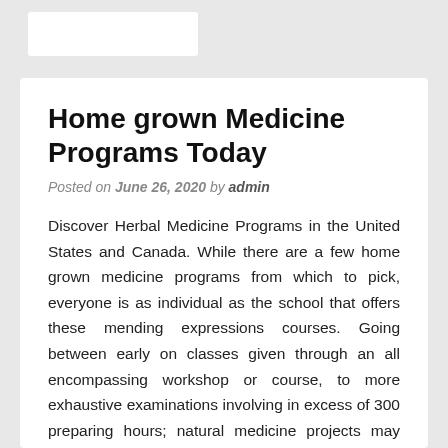Home grown Medicine Programs Today
Posted on June 26, 2020 by admin
Discover Herbal Medicine Programs in the United States and Canada. While there are a few home grown medicine programs from which to pick, everyone is as individual as the school that offers these mending expressions courses. Going between early on classes given through an all encompassing workshop or course, to more exhaustive examinations involving in excess of 300 preparing hours; natural medicine projects may qualify understudies to acquire proficient affirmation in the field. These (courses) are